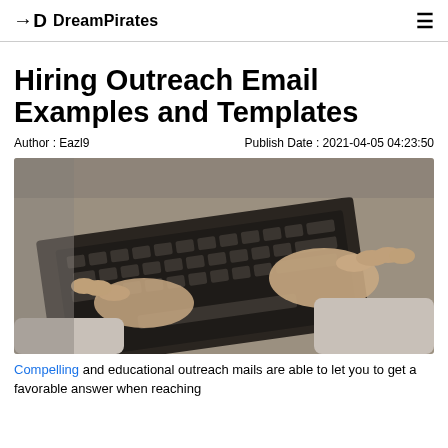DreamPirates
Hiring Outreach Email Examples and Templates
Author : Eazl9    Publish Date : 2021-04-05 04:23:50
[Figure (photo): Overhead view of two hands typing on a laptop keyboard on a textured surface]
Compelling and educational outreach mails are able to let you to get a favorable answer when reaching